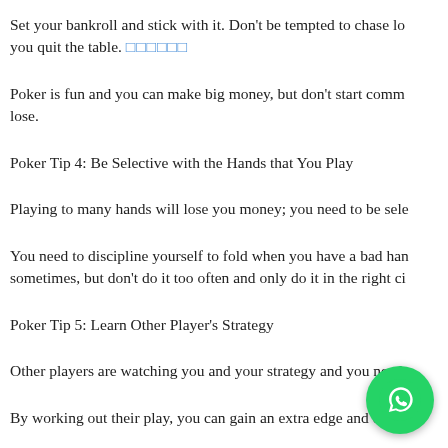Set your bankroll and stick with it. Don't be tempted to chase lo... you quit the table. [link]
Poker is fun and you can make big money, but don't start comm... lose.
Poker Tip 4: Be Selective with the Hands that You Play
Playing to many hands will lose you money; you need to be sele...
You need to discipline yourself to fold when you have a bad han... sometimes, but don't do it too often and only do it in the right ci...
Poker Tip 5: Learn Other Player's Strategy
Other players are watching you and your strategy and you need...
By working out their play, you can gain an extra edge and enha...